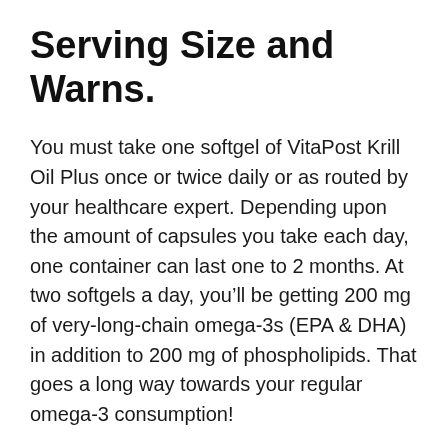Serving Size and Warns.
You must take one softgel of VitaPost Krill Oil Plus once or twice daily or as routed by your healthcare expert. Depending upon the amount of capsules you take each day, one container can last one to 2 months. At two softgels a day, you’ll be getting 200 mg of very-long-chain omega-3s (EPA & DHA) in addition to 200 mg of phospholipids. That goes a long way towards your regular omega-3 consumption!
It is advised you take Krill Oil Plus with meals. This is due to the fact that consuming oils on a vacant belly doesn’t properly promote the production of the bile that is